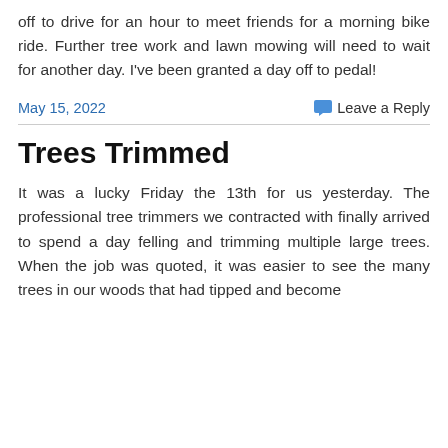off to drive for an hour to meet friends for a morning bike ride. Further tree work and lawn mowing will need to wait for another day. I've been granted a day off to pedal!
May 15, 2022
Leave a Reply
Trees Trimmed
It was a lucky Friday the 13th for us yesterday. The professional tree trimmers we contracted with finally arrived to spend a day felling and trimming multiple large trees. When the job was quoted, it was easier to see the many trees in our woods that had tipped and become